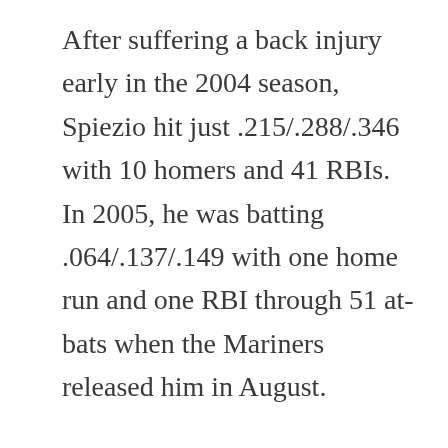After suffering a back injury early in the 2004 season, Spiezio hit just .215/.288/.346 with 10 homers and 41 RBIs. In 2005, he was batting .064/.137/.149 with one home run and one RBI through 51 at-bats when the Mariners released him in August.